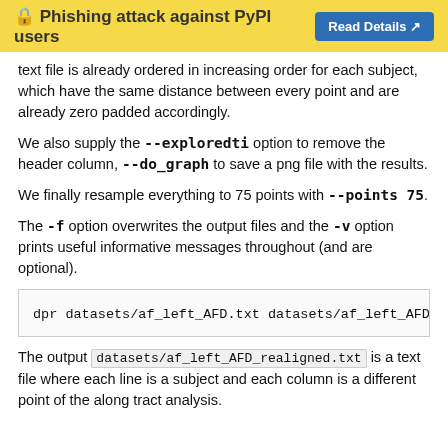🔒 Phishing attack against PyPI users  Read Details ↗
text file is already ordered in increasing order for each subject, which have the same distance between every point and are already zero padded accordingly.
We also supply the --exploredti option to remove the header column, --do_graph to save a png file with the results.
We finally resample everything to 75 points with --points 75.
The -f option overwrites the output files and the -v option prints useful informative messages throughout (and are optional).
[Figure (screenshot): Code block showing: dpr datasets/af_left_AFD.txt datasets/af_left_AFD_]
The output datasets/af_left_AFD_realigned.txt is a text file where each line is a subject and each column is a different point of the along tract analysis.